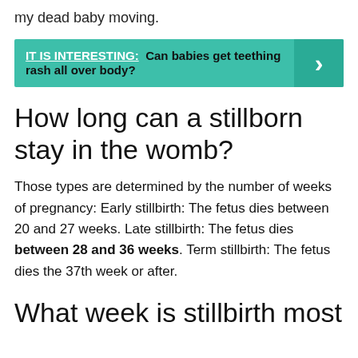my dead baby moving.
[Figure (infographic): Teal callout box with text 'IT IS INTERESTING: Can babies get teething rash all over body?' and a right arrow on a darker teal background on the right side.]
How long can a stillborn stay in the womb?
Those types are determined by the number of weeks of pregnancy: Early stillbirth: The fetus dies between 20 and 27 weeks. Late stillbirth: The fetus dies between 28 and 36 weeks. Term stillbirth: The fetus dies the 37th week or after.
What week is stillbirth most